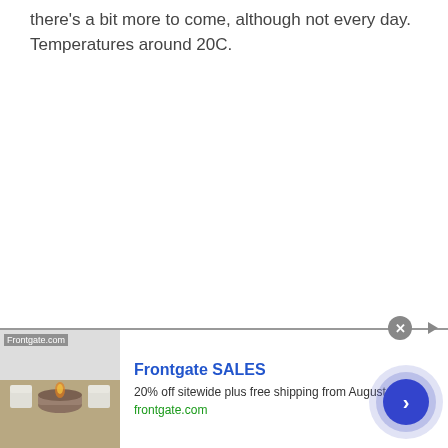there's a bit more to come, although not every day. Temperatures around 20C.
[Figure (other): Advertisement banner for Frontgate SALES. Shows outdoor patio furniture with fire pit bowl. Text reads: 'Frontgate SALES', '20% off sitewide plus free shipping from August 19-22', 'frontgate.com'. Contains a close button (X), an ad indicator arrow, and a circular blue call-to-action button with a right chevron.]